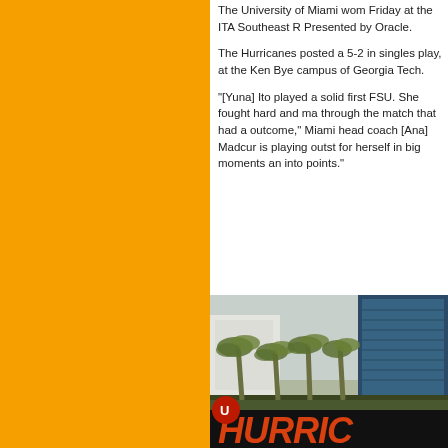The University of Miami wom Friday at the ITA Southeast R Presented by Oracle.
The Hurricanes posted a 5-2 in singles play, at the Ken Bye campus of Georgia Tech.
"[Yuna] Ito played a solid first FSU. She fought hard and ma through the match that had a outcome," Miami head coach [Ana] Madcur is playing outst for herself in big moments an into points."
[Figure (photo): Exterior photo of a University of Miami facility with palm trees and a sign reading HURRIC in large orange letters]